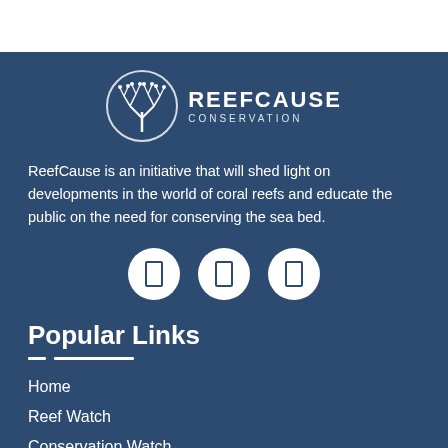[Figure (logo): ReefCause Conservation logo: circular emblem with coral tree illustration, text REEFCAUSE CONSERVATION beside it]
ReefCause is an initiative that will shed light on developments in the world of coral reefs and educate the public on the need for conserving the sea bed.
[Figure (infographic): Three white circular social media icon buttons in a row]
Popular Links
Home
Reef Watch
Conservation Watch
Latest News